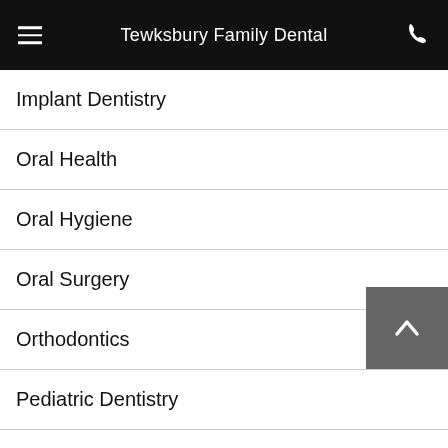Tewksbury Family Dental
Implant Dentistry
Oral Health
Oral Hygiene
Oral Surgery
Orthodontics
Pediatric Dentistry
Periodontal Therapy
nology